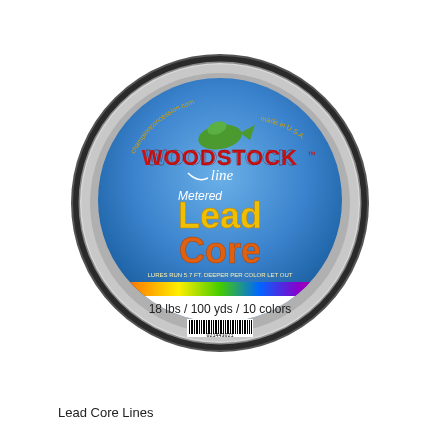[Figure (photo): A round spool of Woodstock Line Metered Lead Core fishing line. The label on the spool reads 'WOODSTOCK line Metered Lead Core, 18 lbs / 100 yds / 10 colors' with a colorful rainbow band across the lower portion of the label. The spool has a metallic silver rim.]
Lead Core Lines